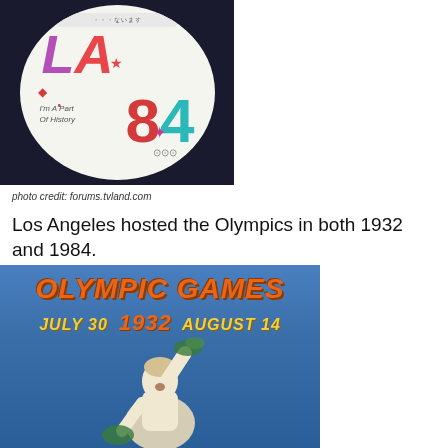[Figure (photo): LA 1984 Olympics commemorative pin/button badge with colorful 'LA 84' text, star, diamond shapes, and 'I'm A Part Of History' text with Olympic rings]
photo credit: forums.tvland.com
Los Angeles hosted the Olympics in both 1932 and 1984.
[Figure (photo): 1932 Olympic Games poster showing 'OLYMPIC GAMES JULY 30 1932 AUGUST 14' text over a blue textured background with a figure of an athlete holding laurel branches]